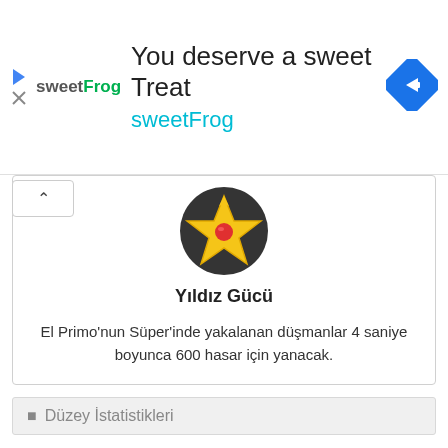[Figure (screenshot): SweetFrog advertisement banner with logo, headline 'You deserve a sweet Treat', subtitle 'sweetFrog', and a blue navigation map icon on the right. Play/close icons on far left.]
[Figure (illustration): Brawl Stars star power icon - a gold star with a red gem/dot in the center on a dark background, used as a game badge]
Yıldız Gücü
El Primo'nun Süper'inde yakalanan düşmanlar 4 saniye boyunca 600 hasar için yanacak.
Düzey İstatistikleri
AYRICA OKUYUN: El Primo için Nihai Kılavuz
[Figure (screenshot): Video player placeholder showing 'No compatible source was found for this' with a grey background and close button]